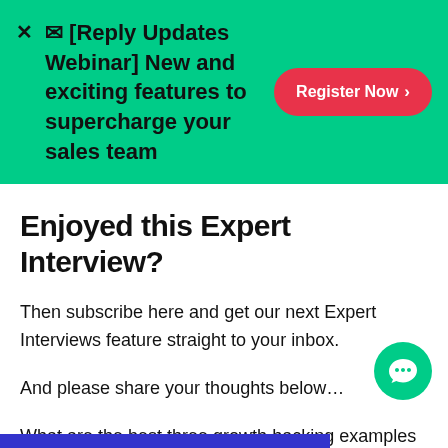✉ [Reply Updates Webinar] New and exciting features to supercharge your sales team
Enjoyed this Expert Interview?
Then subscribe here and get our next Expert Interviews feature straight to your inbox.
And please share your thoughts below...
What are the best three growth hacking examples you've seen in 2016?